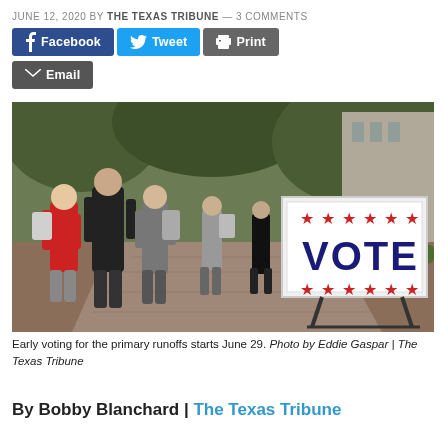JUNE 12, 2020 BY THE TEXAS TRIBUNE — 3 COMMENTS
Facebook  Tweet  Print  Email
[Figure (photo): Students walking on a campus path toward a large VOTE sign with red stars, early voting for the primary runoffs starts June 29.]
Early voting for the primary runoffs starts June 29. Photo by Eddie Gaspar | The Texas Tribune
By Bobby Blanchard | The Texas Tribune